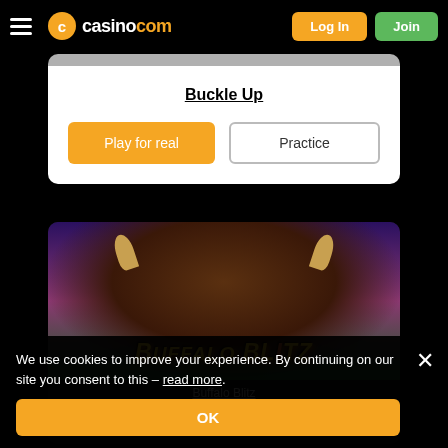casino.com — Log In | Join
Buckle Up
Play for real | Practice
[Figure (screenshot): Buffalo Blitz slot game promotional image showing a buffalo head against a purple/red sky with the game title 'Buffalo Blitz' in yellow/orange stylized text]
Buffalo Blitz
Play for real | Practice
We use cookies to improve your experience. By continuing on our site you consent to this – read more.
OK